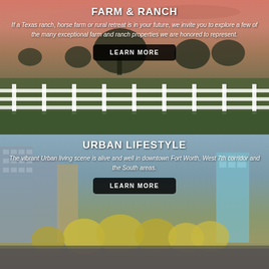[Figure (photo): Farm and ranch scene with white fence, green fields, and sunset sky with warm orange-pink hues]
FARM & RANCH
If a Texas ranch, horse farm or rural retreat is in your future, we invite you to explore a few of the many exceptional farm and ranch properties we are honored to represent.
LEARN MORE
[Figure (photo): Urban skyline of Fort Worth with tall glass buildings, city park with trees and yellow foliage]
URBAN LIFESTYLE
The vibrant Urban living scene is alive and well in downtown Fort Worth, West 7th corridor and the South areas.
LEARN MORE